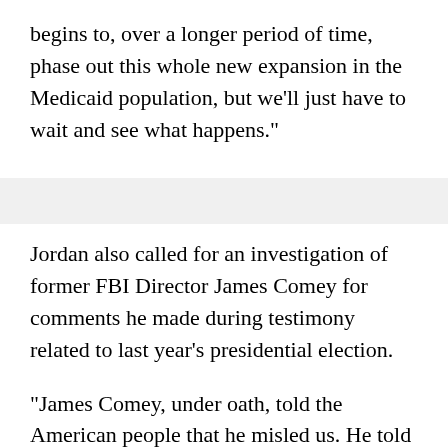begins to, over a longer period of time, phase out this whole new expansion in the Medicaid population, but we'll just have to wait and see what happens."
Jordan also called for an investigation of former FBI Director James Comey for comments he made during testimony related to last year's presidential election.
"James Comey, under oath, told the American people that he misled us. He told us that he did it willfully and intentionally and did it at the direction of the Attorney General. Loretta Lynch told him to call an investigation, not an investigation, but to call it a matter. That was last year in the Clinton